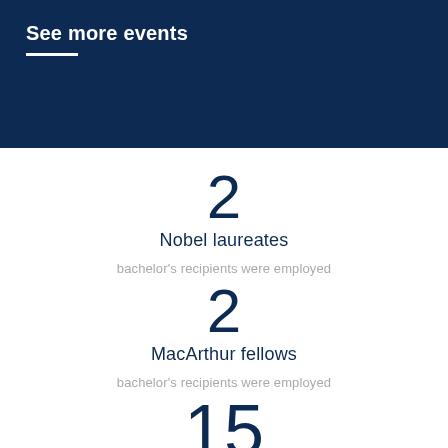See more events
2
Nobel laureates
bachelor's recipients were employed
2
MacArthur fellows
bachelor's recipients were employed
15
NCAA titles
graduates hold a position related to their degree
21.6+